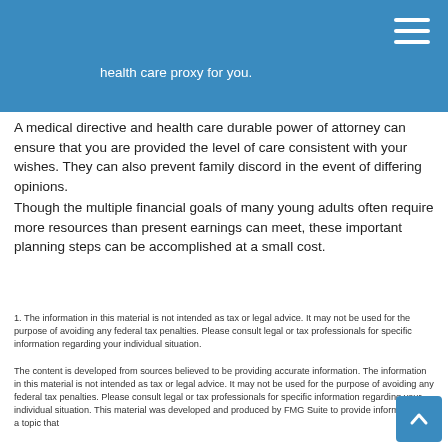health care proxy for you.
A medical directive and health care durable power of attorney can ensure that you are provided the level of care consistent with your wishes. They can also prevent family discord in the event of differing opinions.
Though the multiple financial goals of many young adults often require more resources than present earnings can meet, these important planning steps can be accomplished at a small cost.
1. The information in this material is not intended as tax or legal advice. It may not be used for the purpose of avoiding any federal tax penalties. Please consult legal or tax professionals for specific information regarding your individual situation.
The content is developed from sources believed to be providing accurate information. The information in this material is not intended as tax or legal advice. It may not be used for the purpose of avoiding any federal tax penalties. Please consult legal or tax professionals for specific information regarding your individual situation. This material was developed and produced by FMG Suite to provide information on a topic that